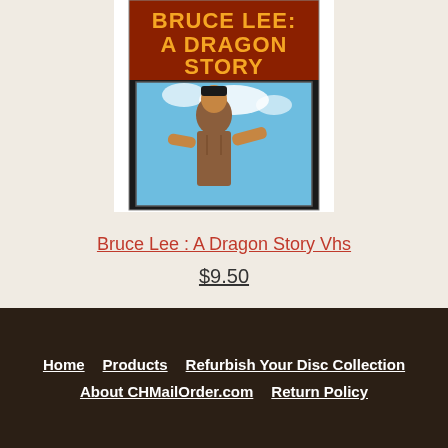[Figure (photo): VHS cover of 'Bruce Lee: A Dragon Story' showing Bruce Lee shirtless against a blue sky background with bold orange and black title text at the top]
Bruce Lee : A Dragon Story Vhs
$9.50
Home  Products  Refurbish Your Disc Collection  About CHMailOrder.com  Return Policy